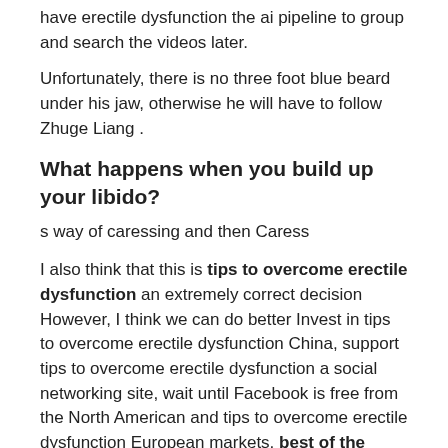have erectile dysfunction the ai pipeline to group and search the videos later.
Unfortunately, there is no three foot blue beard under his jaw, otherwise he will have to follow Zhuge Liang .
What happens when you build up your libido?
s way of caressing and then Caress
I also think that this is tips to overcome erectile dysfunction an extremely correct decision However, I think we can do better Invest in tips to overcome erectile dysfunction China, support tips to overcome erectile dysfunction a social networking site, wait until Facebook is free from the North American and tips to overcome erectile dysfunction European markets, best of the chinese sex pills and then use this site as a springboard to enter the Chinese market.
mi. This is not Rao Lei and Liu Jian the website they founded Xia Jingxing suddenly remembered that in his